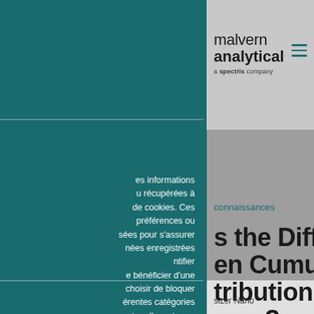malvern analytical a spectris company
es informations u récupérées à de cookies. Ces préférences ou sées pour s'assurer nées enregistrées ntifier bénéficier d'une choisir de bloquer érentes catégories tre elles, et pour oter, cependant, , votre expérience en mesure de
connaissances
s the Difference en Cumulants and tribution nms?
sizer Nano